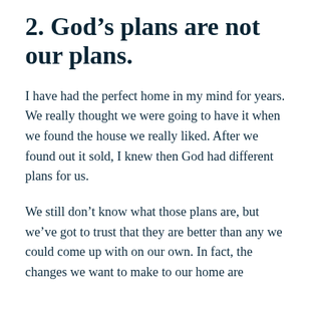2. God's plans are not our plans.
I have had the perfect home in my mind for years. We really thought we were going to have it when we found the house we really liked. After we found out it sold, I knew then God had different plans for us.
We still don't know what those plans are, but we've got to trust that they are better than any we could come up with on our own. In fact, the changes we want to make to our home are